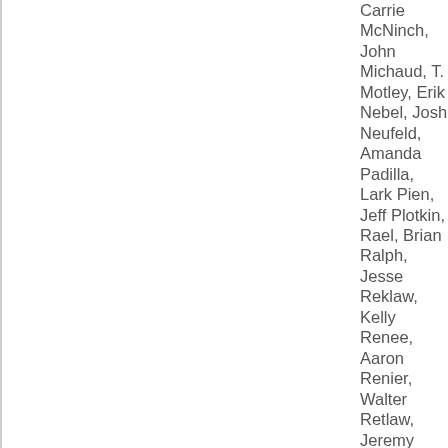Carrie McNinch, John Michaud, T. Motley, Erik Nebel, Josh Neufeld, Amanda Padilla, Lark Pien, Jeff Plotkin, Rael, Brian Ralph, Jesse Reklaw, Kelly Renee, Aaron Renier, Walter Retlaw, Jeremy Rizza, Alex Robinson, Androo Robinson, Christopher Dante Romano, Armando Rosales, J. Sacher, Dan Seneres, Josh Sheppard,